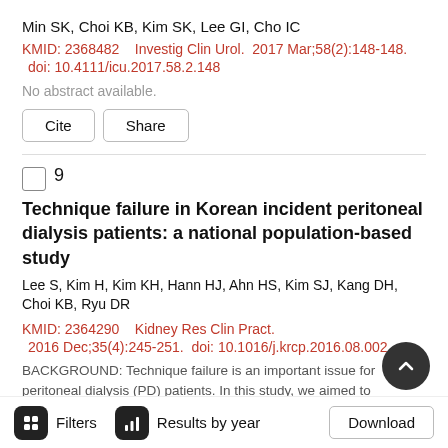Min SK, Choi KB, Kim SK, Lee GI, Cho IC
KMID: 2368482    Investig Clin Urol.  2017 Mar;58(2):148-148.  doi: 10.4111/icu.2017.58.2.148
No abstract available.
Cite  Share
9
Technique failure in Korean incident peritoneal dialysis patients: a national population-based study
Lee S, Kim H, Kim KH, Hann HJ, Ahn HS, Kim SJ, Kang DH, Choi KB, Ryu DR
KMID: 2364290    Kidney Res Clin Pract.  2016 Dec;35(4):245-251.  doi: 10.1016/j.krcp.2016.08.002
BACKGROUND: Technique failure is an important issue for peritoneal dialysis (PD) patients. In this study, we aimed to